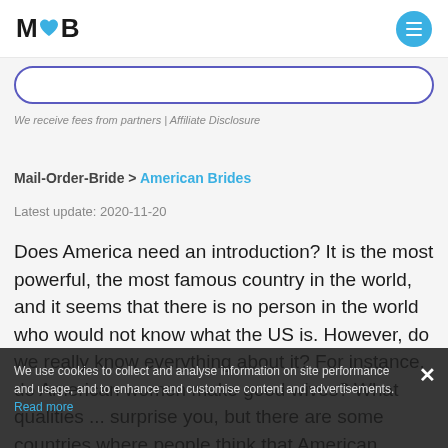MOB logo and navigation menu
We receive fees from partners | Affiliate Disclosure
Mail-Order-Bride > American Brides
Latest update: 2020-11-20
Does America need an introduction? It is the most powerful, the most famous country in the world, and it seems that there is no person in the world who would not know what the US is. However, do we really know everything about it? For instance, do American women make good wives? What qualities ... surprise you, but there are some countries where people think that American women...
We use cookies to collect and analyse information on site performance and usage, and to enhance and customise content and advertisements. Read more